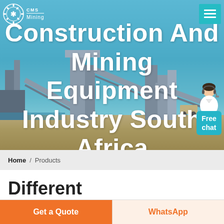[Figure (photo): Hero banner image of a mining/construction facility with conveyor belts and industrial equipment against a blue sky, with overlaid white bold text reading 'Construction And Mining Equipment Industry South Africa']
Construction And Mining Equipment Industry South Africa
Home / Products
Different
Get a Quote
WhatsApp